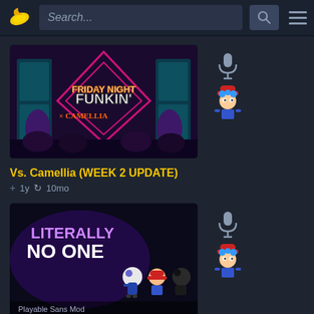Search...
[Figure (screenshot): Thumbnail for Friday Night Funkin x mod - Vs. Camellia WEEK 2 UPDATE]
Vs. Camellia (WEEK 2 UPDATE)
+ 1y  10mo
[Figure (screenshot): Thumbnail for Playable Sans mod - Literally No One, Playable Sans Mod]
Playable Sans! (w/ Vocals)
+ 1y  1y
[Figure (screenshot): Partial thumbnail of another mod at bottom of page]